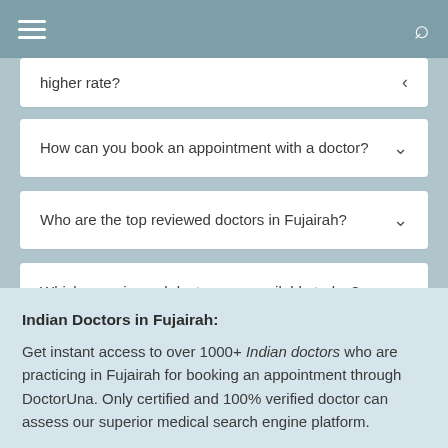[hamburger menu] [search icon]
higher rate?
How can you book an appointment with a doctor?
Who are the top reviewed doctors in Fujairah?
Which experienced doctors are available today?
Indian Doctors in Fujairah:
Get instant access to over 1000+ Indian doctors who are practicing in Fujairah for booking an appointment through DoctorUna. Only certified and 100% verified doctor can assess our superior medical search engine platform.
Doctors Fees in Fujairah 2022:
Doctors fees may vary from one clinic to the other. The fees